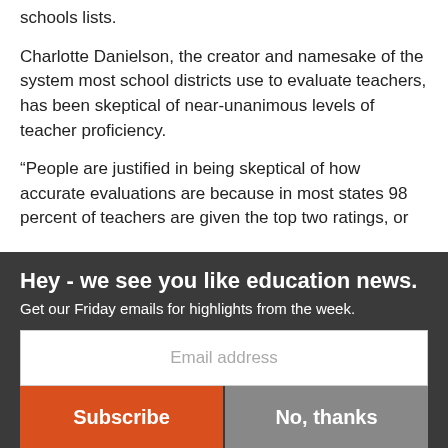schools lists.
Charlotte Danielson, the creator and namesake of the system most school districts use to evaluate teachers, has been skeptical of near-unanimous levels of teacher proficiency.
“People are justified in being skeptical of how accurate evaluations are because in most states 98 percent of teachers are given the top two ratings, or
Hey - we see you like education news.
Get our Friday emails for highlights from the week.
Email address
Subscribe
No, thanks